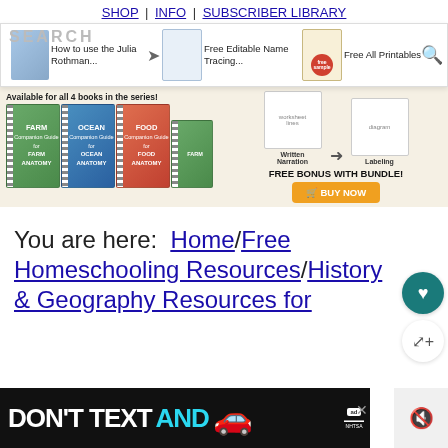SHOP | INFO | SUBSCRIBER LIBRARY
[Figure (screenshot): Navigation dropdown showing: How to use the Julia Rothman..., Free Editable Name Tracing..., Free All Printables]
[Figure (infographic): Ad banner: Available for all 4 books in the series! FARM, OCEAN, FOOD books shown with worksheets for Written Narration and Labeling. FREE BONUS WITH BUNDLE! BUY NOW button.]
You are here: Home/Free Homeschooling Resources/History & Geography Resources for
[Figure (infographic): Bottom advertisement: DON'T TEXT AND [car emoji] with ad badge and NHTSA logo. Close X button. Muted speaker icon on right.]